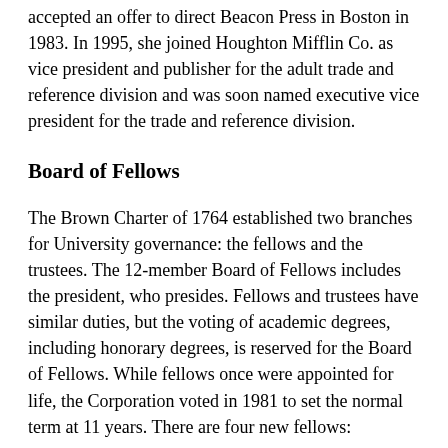accepted an offer to direct Beacon Press in Boston in 1983. In 1995, she joined Houghton Mifflin Co. as vice president and publisher for the adult trade and reference division and was soon named executive vice president for the trade and reference division.
Board of Fellows
The Brown Charter of 1764 established two branches for University governance: the fellows and the trustees. The 12-member Board of Fellows includes the president, who presides. Fellows and trustees have similar duties, but the voting of academic degrees, including honorary degrees, is reserved for the Board of Fellows. While fellows once were appointed for life, the Corporation voted in 1981 to set the normal term at 11 years. There are four new fellows:
Timothy C. Forbes is chief operating officer of American Heritage, the division